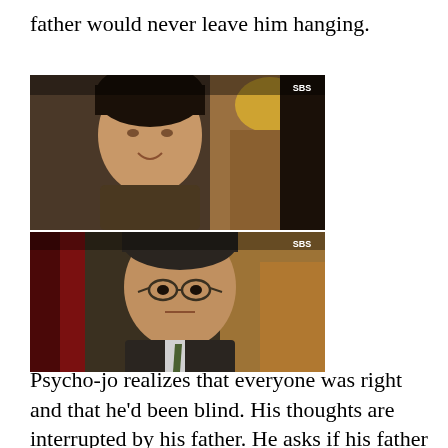father would never leave him hanging.
[Figure (photo): TV drama screenshot (SBS watermark) showing a young Korean man smiling, shot from slightly below, with a blurred background featuring warm golden lighting and another person partially visible on the right.]
[Figure (photo): TV drama screenshot (SBS watermark) showing an older Korean man wearing glasses and a suit with a tie, looking serious, with warm golden light in the background and a red/dark figure partially visible on the left.]
Psycho-jo realizes that everyone was right and that he'd been blind. His thoughts are interrupted by his father. He asks if his father